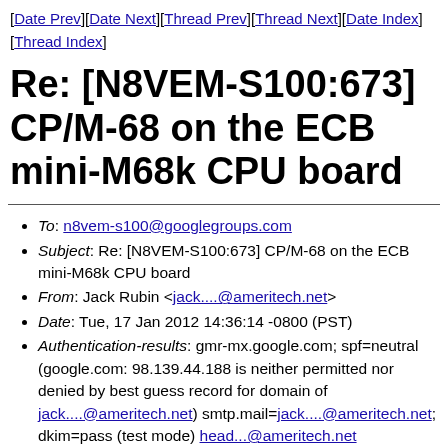[Date Prev][Date Next][Thread Prev][Thread Next][Date Index][Thread Index]
Re: [N8VEM-S100:673] CP/M-68 on the ECB mini-M68k CPU board
To: n8vem-s100@googlegroups.com
Subject: Re: [N8VEM-S100:673] CP/M-68 on the ECB mini-M68k CPU board
From: Jack Rubin <jack....@ameritech.net>
Date: Tue, 17 Jan 2012 14:36:14 -0800 (PST)
Authentication-results: gmr-mx.google.com; spf=neutral (google.com: 98.139.44.188 is neither permitted nor denied by best guess record for domain of jack....@ameritech.net) smtp.mail=jack....@ameritech.net; dkim=pass (test mode) head...@ameritech.net
Dkim-signature: v=1; a=rsa-sha256; c=relaxed/relaxed; d=ameritech.net; s=s1024; t=1326839775;